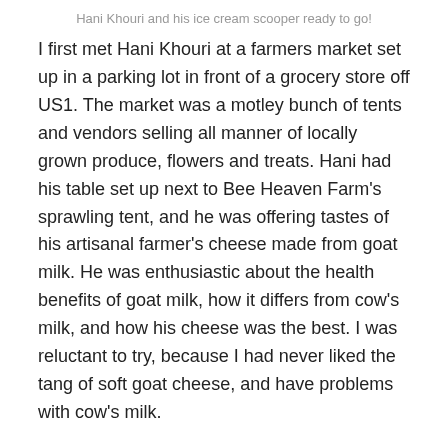Hani Khouri and his ice cream scooper ready to go!
I first met Hani Khouri at a farmers market set up in a parking lot in front of a grocery store off US1. The market was a motley bunch of tents and vendors selling all manner of locally grown produce, flowers and treats. Hani had his table set up next to Bee Heaven Farm's sprawling tent, and he was offering tastes of his artisanal farmer's cheese made from goat milk. He was enthusiastic about the health benefits of goat milk, how it differs from cow's milk, and how his cheese was the best. I was reluctant to try, because I had never liked the tang of soft goat cheese, and have problems with cow's milk.
Hani invited me to try a bite, and cautiously, I did. The farmers cheese was firm, a lttle crumbly, and sweet. No